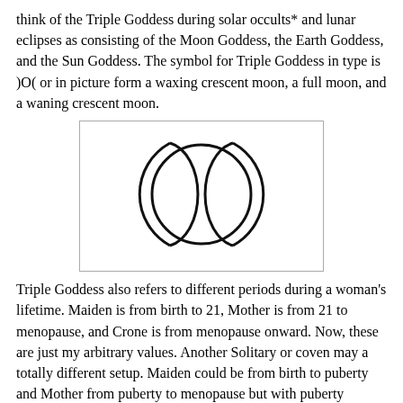think of the Triple Goddess during solar occults* and lunar eclipses as consisting of the Moon Goddess, the Earth Goddess, and the Sun Goddess. The symbol for Triple Goddess in type is )O( or in picture form a waxing crescent moon, a full moon, and a waning crescent moon.
[Figure (illustration): Triple Goddess symbol: a large central full moon circle flanked by waxing crescent moon (left) and waning crescent moon (right), all drawn with black outlines on white background, enclosed in a thin rectangular border.]
Triple Goddess also refers to different periods during a woman's lifetime. Maiden is from birth to 21, Mother is from 21 to menopause, and Crone is from menopause onward. Now, these are just my arbitrary values. Another Solitary or coven may a totally different setup. Maiden could be from birth to puberty and Mother from puberty to menopause but with puberty starting earlier and earlier, I would have a hard time seeing a 9 yr old as Mother. Usually there is a special ceremony for the beginning of each stage.